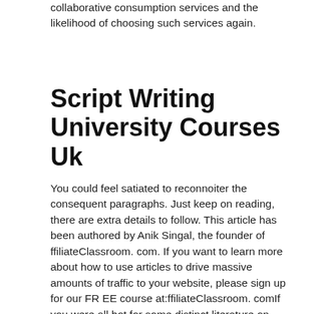collaborative consumption services and the likelihood of choosing such services again.
Script Writing University Courses Uk
You could feel satiated to reconnoiter the consequent paragraphs. Just keep on reading, there are extra details to follow. This article has been authored by Anik Singal, the founder of ffiliateClassroom. com. If you want to learn more about how to use articles to drive massive amounts of traffic to your website, please sign up for our FR EE course at:ffiliateClassroom. comIf you were all hot for some distinct literature on christian web promotion, then possibly this excerpt has increased your expertise. Our website will deliver you with the entire galore of technicalities on internet marketing. Do return back to experience more wisdom on christian web promotion and internet marketing. christian web